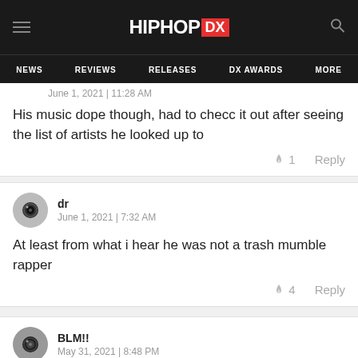HIPHOP DX — NEWS | REVIEWS | RELEASES | DX AWARDS | MORE
June 1, 2021 | 11:28 AM
His music dope though, had to checc it out after seeing the list of artists he looked up to
🔥1  Reply
dr
June 1, 2021 | 7:32 AM
At least from what i hear he was not a trash mumble rapper
🔥4  Reply
BLM!!
May 31, 2021 | 8:48 PM